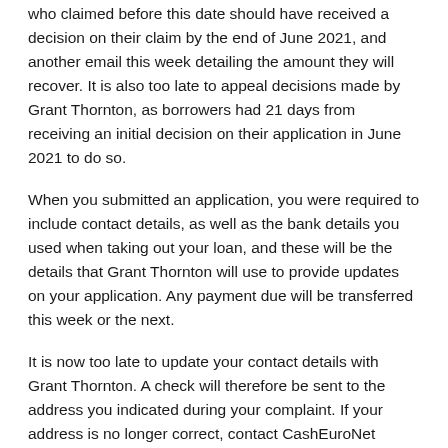who claimed before this date should have received a decision on their claim by the end of June 2021, and another email this week detailing the amount they will recover. It is also too late to appeal decisions made by Grant Thornton, as borrowers had 21 days from receiving an initial decision on their application in June 2021 to do so.
When you submitted an application, you were required to include contact details, as well as the bank details you used when taking out your loan, and these will be the details that Grant Thornton will use to provide updates on your application. Any payment due will be transferred this week or the next.
It is now too late to update your contact details with Grant Thornton. A check will therefore be sent to the address you indicated during your complaint. If your address is no longer correct, contact CashEuroNet customer service on 0800 0163 250.
Payday loans and other short-term loans have been largely poorly sold and dozens of short-term lenders have gone bankrupt, including former Newcastle United sponsor Wonga, leaving customers with legitimate complaints to get dramatically reduced